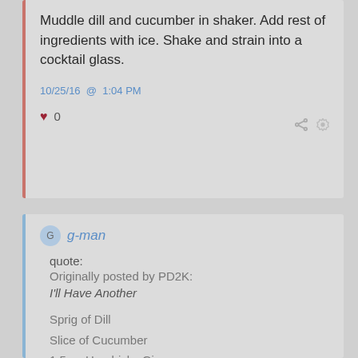Muddle dill and cucumber in shaker. Add rest of ingredients with ice. Shake and strain into a cocktail glass.
10/25/16 @ 1:04 PM
0
g-man
quote:
Originally posted by PD2K:
I'll Have Another

Sprig of Dill
Slice of Cucumber
1.5 oz Hendricks Gin